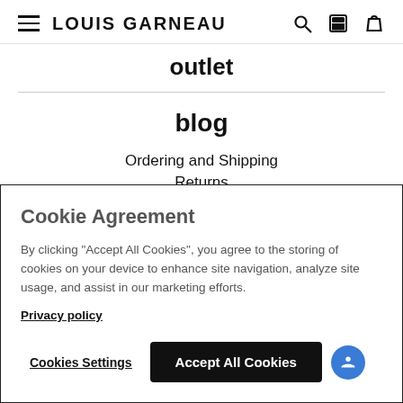LOUIS GARNEAU
outlet
blog
Ordering and Shipping
Returns
Cookie Agreement
By clicking "Accept All Cookies", you agree to the storing of cookies on your device to enhance site navigation, analyze site usage, and assist in our marketing efforts.
Privacy policy
Cookies Settings
Accept All Cookies